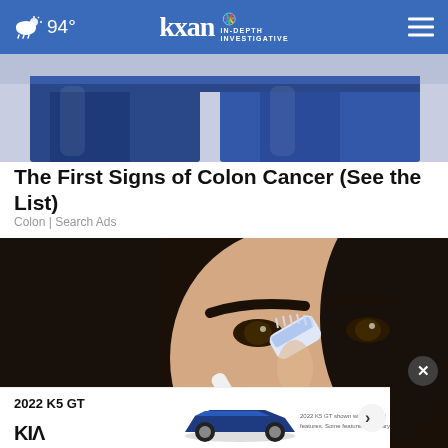94° kxan IN-DEPTH INVESTIGATIVE
[Figure (photo): Partial view of person wearing dark blue jeans, cropped at waist/legs area]
The First Signs of Colon Cancer (See the List)
Colon | Search Ads
[Figure (photo): Close-up of a dark-haired woman's face with a toothbrush being held near her nose]
[Figure (other): Kia advertisement banner showing 2022 K5 GT with car image and Kia logo]